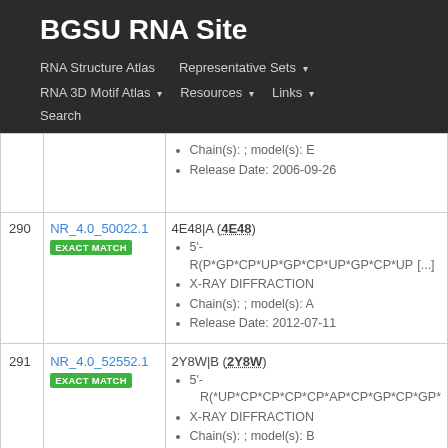BGSU RNA Site
RNA Structure Atlas | Representative Sets ▾ | RNA 3D Motif Atlas ▾ | Resources ▾ | Links ▾ | Search
| # | ID | Info |
| --- | --- | --- |
|  |  | Chain(s): ; model(s): E
Release Date: 2006-09-26 |
| 290 | NR_4.0_50022.1 EXACT MATCH | 4E48|A (4E48)
5'-R(P*GP*CP*UP*GP*CP*UP*GP*CP*UP [...]
X-RAY DIFFRACTION
Chain(s): ; model(s): A
Release Date: 2012-07-11 |
| 291 | NR_4.0_52552.1 EXACT MATCH | 2Y8W|B (2Y8W)
5'-R(*UP*CP*CP*CP*CP*AP*CP*GP*CP*GP*
X-RAY DIFFRACTION
Chain(s): ; model(s): B |